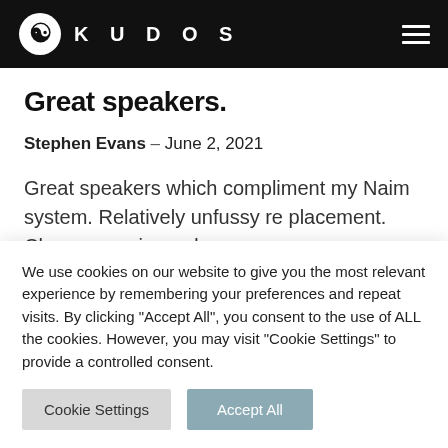KUDOS
Great speakers.
Stephen Evans – June 2, 2021
Great speakers which compliment my Naim system. Relatively unfussy re placement. Clear open airy and
We use cookies on our website to give you the most relevant experience by remembering your preferences and repeat visits. By clicking "Accept All", you consent to the use of ALL the cookies. However, you may visit "Cookie Settings" to provide a controlled consent.